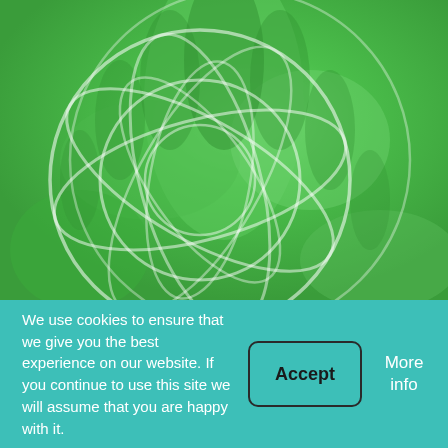[Figure (photo): Close-up photo of a cannabis plant with green leaves, overlaid with a semi-transparent white geometric globe/sphere pattern made of intersecting circles and lines.]
We use cookies to ensure that we give you the best experience on our website. If you continue to use this site we will assume that you are happy with it.
Accept
More info